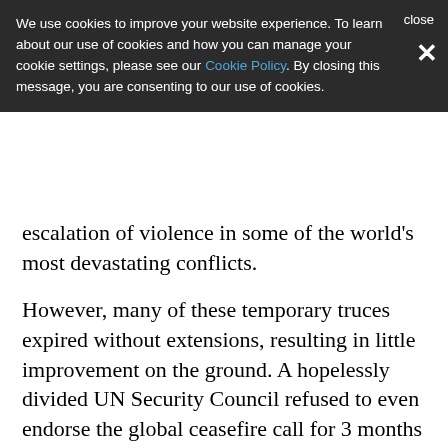We use cookies to improve your website experience. To learn about our use of cookies and how you can manage your cookie settings, please see our Cookie Policy. By closing this message, you are consenting to our use of cookies.
escalation of violence in some of the world's most devastating conflicts.
However, many of these temporary truces expired without extensions, resulting in little improvement on the ground. A hopelessly divided UN Security Council refused to even endorse the global ceasefire call for 3 months and when it did finally pass a resolution in July, much of the momentum behind the call had been lost. Fighting began to escalate in major conflicts including Yemen, Libya and Afghanistan. Meanwhile the exact impact of COVID-19 in many war zones was hard to measure given limited testing and data, limited medical facilities and perhaps also younger populations and the existence of other deadly diseases.